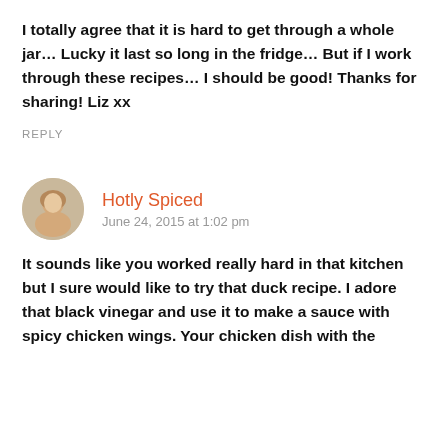I totally agree that it is hard to get through a whole jar… Lucky it last so long in the fridge… But if I work through these recipes… I should be good! Thanks for sharing! Liz xx
REPLY
Hotly Spiced
June 24, 2015 at 1:02 pm
It sounds like you worked really hard in that kitchen but I sure would like to try that duck recipe. I adore that black vinegar and use it to make a sauce with spicy chicken wings. Your chicken dish with the